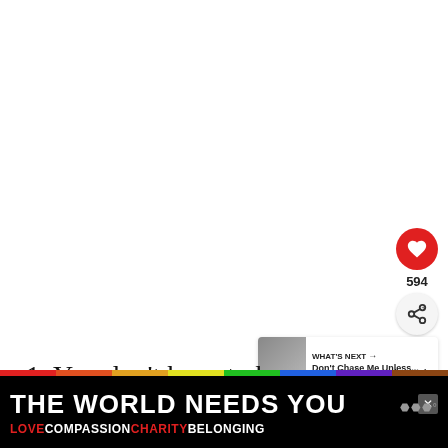[Figure (screenshot): White content area with heart/like button showing 594 likes, share button, and 'What's Next' thumbnail preview for 'Don't Chase Me Unless...']
1. You don't have to be great to start, but y...
[Figure (infographic): Advertisement banner with rainbow color bar. Large text 'THE WORLD NEEDS YOU' with close button. Bottom row: LOVE COMPASSION CHARITY BELONGING in alternating red and white text on black background.]